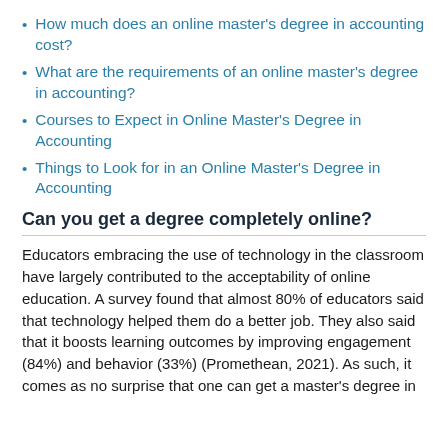How much does an online master's degree in accounting cost?
What are the requirements of an online master's degree in accounting?
Courses to Expect in Online Master's Degree in Accounting
Things to Look for in an Online Master's Degree in Accounting
Can you get a degree completely online?
Educators embracing the use of technology in the classroom have largely contributed to the acceptability of online education. A survey found that almost 80% of educators said that technology helped them do a better job. They also said that it boosts learning outcomes by improving engagement (84%) and behavior (33%) (Promethean, 2021). As such, it comes as no surprise that one can get a master's degree in